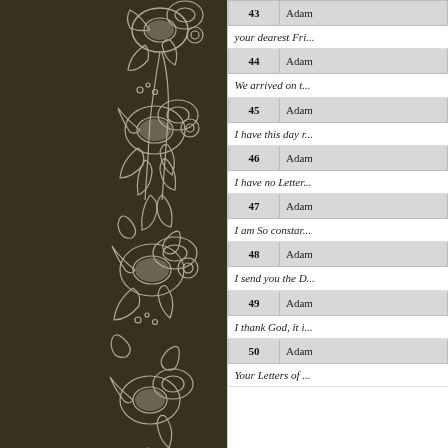[Figure (illustration): Dark brown background with white floral and paisley decorative pattern on the left portion of the page]
| # | Author/Recipient |
| --- | --- |
| 43 | Adam |
| your dearest Fri... |  |
| 44 | Adam |
| We arrived on t... |  |
| 45 | Adam |
| I have this day ... |  |
| 46 | Adam |
| I have no Letter... |  |
| 47 | Adam |
| I am So constar... |  |
| 48 | Adam |
| I send you the D... |  |
| 49 | Adam |
| I thank God, it i... |  |
| 50 | Adam |
| Your Letters of ... |  |